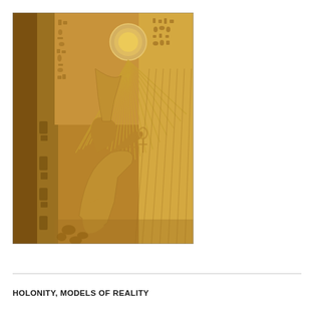[Figure (photo): Ancient Egyptian stone relief carving depicting a pharaoh or figure in traditional Egyptian profile pose with crown/headdress, raising hands toward sun rays emanating from a solar disk (Aten). Hieroglyphics visible in the background. The carving is in warm golden-brown sandstone tones.]
HOLONITY, MODELS OF REALITY